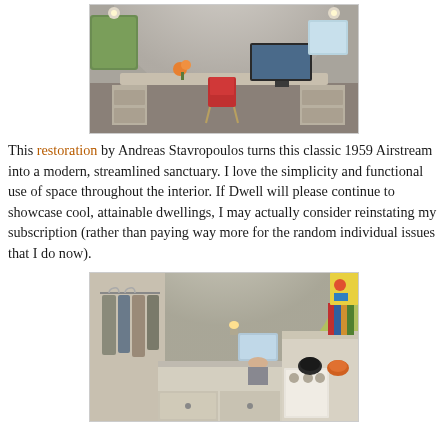[Figure (photo): Interior of a restored 1959 Airstream trailer converted into a modern studio/office space with curved aluminum ceiling, built-in desk, computer monitor, and red chair.]
This restoration by Andreas Stavropoulos turns this classic 1959 Airstream into a modern, streamlined sanctuary. I love the simplicity and functional use of space throughout the interior. If Dwell will please continue to showcase cool, attainable dwellings, I may actually consider reinstating my subscription (rather than paying way more for the random individual issues that I do now).
[Figure (photo): Interior of the same restored Airstream showing a bedroom/living area with clothing hanging, kitchen with stove, and colorful artwork on the wall, all under the curved aluminum ceiling.]